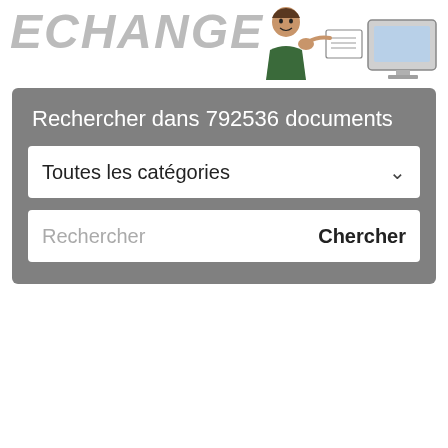[Figure (illustration): Header banner with the word ECHANGE in large italic gray text on the left, and a cartoon illustration of a person feeding a document into a computer on the right.]
Rechercher dans 792536 documents
Toutes les catégories
Rechercher   Chercher